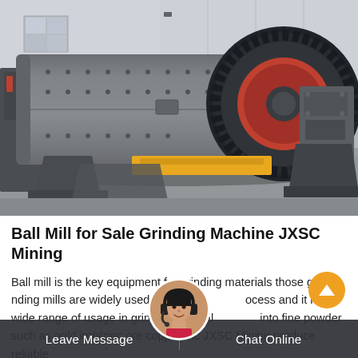[Figure (photo): Large industrial ball mill grinding machine photographed outdoors at a factory/warehouse facility. The machine consists of a long cylindrical drum with bolt patterns, a large gear wheel on the right side, motor drive unit, yellow transport skid, and support stands. Background shows a warehouse building wall.]
Ball Mill for Sale Grinding Machine JXSC Mining
Ball mill is the key equipment for grinding materials those grinding mills are widely used in the mining process and it has a wide range of usage in grinding mineral materials and turning them into fine powder such as gold iron/zinc ore copper etc JXSC Mining produce reliable